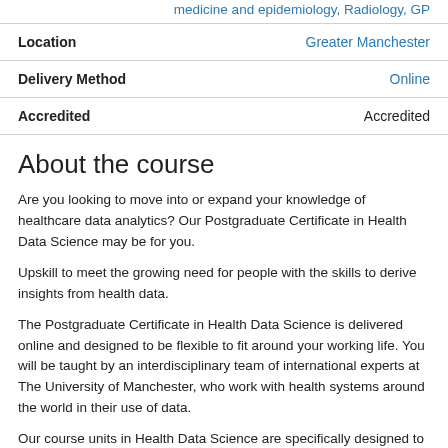medicine and epidemiology, Radiology, GP
| Location | Greater Manchester |
| Delivery Method | Online |
| Accredited | Accredited |
About the course
Are you looking to move into or expand your knowledge of healthcare data analytics? Our Postgraduate Certificate in Health Data Science may be for you.
Upskill to meet the growing need for people with the skills to derive insights from health data.
The Postgraduate Certificate in Health Data Science is delivered online and designed to be flexible to fit around your working life. You will be taught by an interdisciplinary team of international experts at The University of Manchester, who work with health systems around the world in their use of data.
Our course units in Health Data Science are specifically designed to